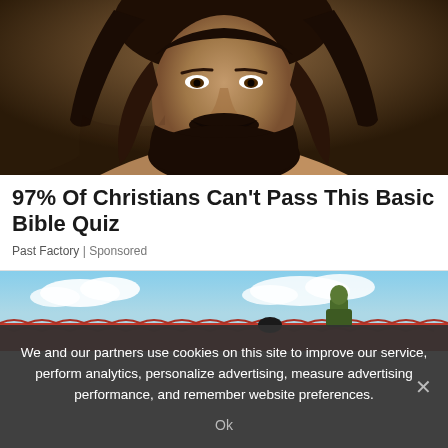[Figure (photo): Close-up portrait of a bearded man with long dark hair, resembling classical depictions of Jesus Christ, dark warm-toned background]
97% Of Christians Can't Pass This Basic Bible Quiz
Past Factory | Sponsored
[Figure (photo): A person in camouflage clothing on a red tiled roof with blue sky and clouds in the background]
We and our partners use cookies on this site to improve our service, perform analytics, personalize advertising, measure advertising performance, and remember website preferences.
Ok